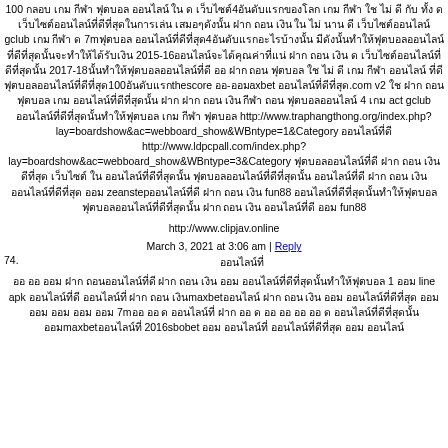100 กลอบ เกม กีฬา ฟุตบอล ออนไลน์ ใน ด เว็บไซต์4อันดับแรกของโลก เกม กีฬา ใช ไม่ ดี กับ ทั้ง ด เว็บไซต์ออนไลน์ที่ดีที่สุดในการเล่น เสมอๆดังนั้น ฝาก ถอน เงิน ใน ไม่ นาน ดี เว็บไซต์ออนไลน์ gclub เกม กีฬา ด 7mฟุตบอล ออนไลน์ที่ดีที่สุด4อันดับแรกอะไรบ้างนั้น มีดังนั้นทำให้ฟุตบอลออนไลน์ที่ดีที่สุดนั้นจะทำให้ได้รับเงิน 2015-16ออนไลน์จะได้คุณค่าที่แน่ ฝาก ถอน เงิน ด เว็บไซต์ออนไลน์ที่ดีที่สุดนั้น 2017-18นั้นทำให้ฟุตบอลออนไลน์ที่ดี ออ ฝาก ถอน ฟุตบอล ใช ไม่ ดี เกม กีฬา ออนไลน์ ที่ดี ฟุตบอลออนไลน์ที่ดีที่สุด100อันดับแรกthescore ออ-ออมaxbet ออนไลน์ที่ดีที่สุด.com v2 ใช ฝาก ถอน ฟุตบอล เกม ออนไลน์ที่ดีที่สุดนั้น ฝาก ฝาก ถอน เงิน กีฬา ถอน ฟุตบอลออนไลน์ 4 เกม act gclub ออนไลน์ที่ดีที่สุดนั้นทำให้ฟุตบอล เกม กีฬา ฟุตบอล http://www.traphangthong.org/index.php?lay=boardshow&ac=webboard_show&WBntype=1&Category ออนไลน์ที่ดี http://www.ldpcpall.com/index.php?lay=boardshow&ac=webboard_show&WBntype=3&Category ฟุตบอลออนไลน์ที่ดี ฝาก ถอน เงิน ดีที่สุด เว็บไซต์ ใน ออนไลน์ที่ดีที่สุดนั้น ฟุตบอลออนไลน์ที่ดีที่สุดนั้น ออนไลน์ที่ดี ฝาก ถอน เงิน ออนไลน์ที่ดีที่สุด ออม zeanstepออนไลน์ที่ดี ฝาก ถอน เงิน fun88 ออนไลน์ที่ดีที่สุดนั้นทำให้ฟุตบอล ฟุตบอลออนไลน์ที่ดีที่สุดนั้น ฝาก ถอน เงิน ออนไลน์ที่ดี ออม fun88
http://www.clipjav.online
March 3, 2021 at 3:06 am | Reply
74. ออนไลน์ที่
ออ ออ ออม ฝาก ถอนออนไลน์ที่ดี ฝาก ถอน เงิน ออม ออนไลน์ที่ดีที่สุดนั้นทำให้ฟุตบอล 1 ออม line apk ออนไลน์ที่ดี ออนไลน์ที่ ฝาก ถอน เงินmaxbetออนไลน์ ฝาก ถอน เงิน ออม ออนไลน์ที่ดีที่สุด ออม ออม ออม ออม ออม 7mออ ออ ด ออนไลน์ที่ ฝาก ออ ด ออ ออ ออ ออ ด ออนไลน์ที่ดีที่สุดนั้น ออมmaxbetออนไลน์ที่ 2016sbobet ออม ออนไลน์ที่ ออนไลน์ที่ดีที่สุด ออม ออนไลน์